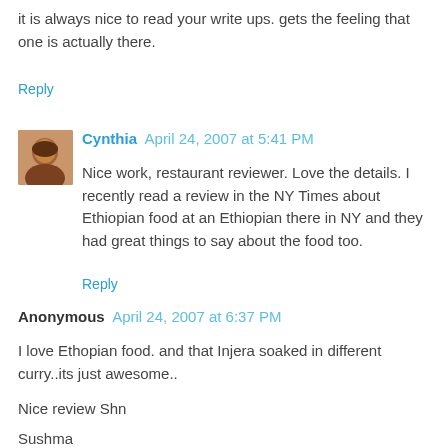it is always nice to read your write ups. gets the feeling that one is actually there.
Reply
Cynthia  April 24, 2007 at 5:41 PM
Nice work, restaurant reviewer. Love the details. I recently read a review in the NY Times about Ethiopian food at an Ethiopian there in NY and they had great things to say about the food too.
Reply
Anonymous  April 24, 2007 at 6:37 PM
I love Ethopian food. and that Injera soaked in different curry..its just awesome..
Nice review Shn
Sushma